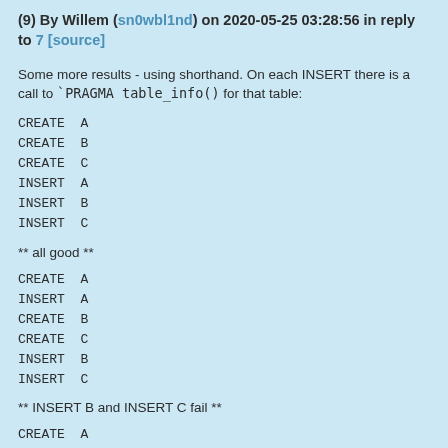(9) By Willem (sn0wbl1nd) on 2020-05-25 03:28:56 in reply to 7 [source]
Some more results - using shorthand. On each INSERT there is a call to `PRAGMA table_info() for that table:
CREATE  A
CREATE  B
CREATE  C
INSERT  A
INSERT  B
INSERT  C
** all good **
CREATE  A
INSERT  A
CREATE  B
CREATE  C
INSERT  B
INSERT  C
** INSERT B and INSERT C fail **
CREATE  A
CREATE  B
INSERT  A